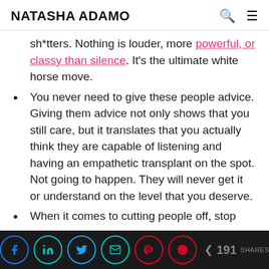NATASHA ADAMO
sh*tters. Nothing is louder, more powerful, or classy than silence. It's the ultimate white horse move.
You never need to give these people advice. Giving them advice not only shows that you still care, but it translates that you actually think they are capable of listening and having an empathetic transplant on the spot. Not going to happen. They will never get it or understand on the level that you deserve.
When it comes to cutting people off, stop
< 191 SHARES (social share buttons: Facebook, LinkedIn, Twitter, Email, Pinterest, Reddit)